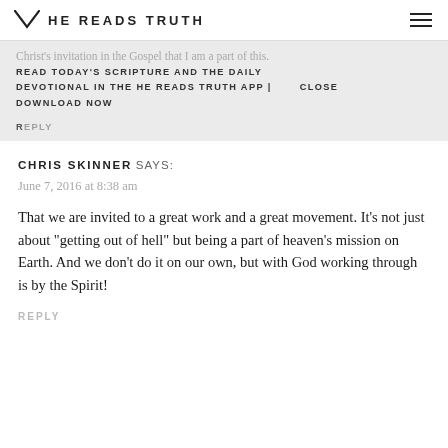HE READS TRUTH
Christ's invitation in the Gospel that I am a part of this. READ TODAY'S SCRIPTURE AND THE DAILY DEVOTIONAL IN THE HE READS TRUTH APP | CLOSE DOWNLOAD NOW
REPLY
CHRIS SKINNER SAYS:
June 7, 2016 at 8:38 am
That we are invited to a great work and a great movement. It’s not just about “getting out of hell” but being a part of heaven’s mission on Earth. And we don’t do it on our own, but with God working through is by the Spirit!
REPLY